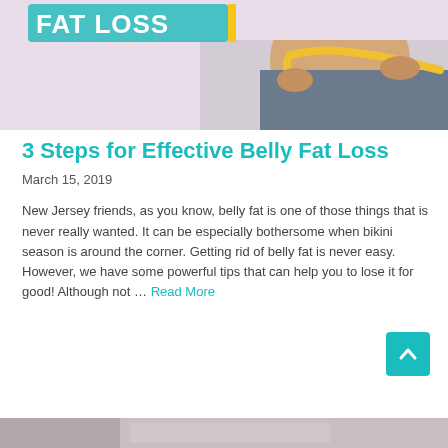[Figure (photo): A person measuring their waist with a yellow tape measure, belly fat loss concept image with partial text 'FAT LOSS' visible in top-left corner]
3 Steps for Effective Belly Fat Loss
March 15, 2019
New Jersey friends, as you know, belly fat is one of those things that is never really wanted. It can be especially bothersome when bikini season is around the corner. Getting rid of belly fat is never easy. However, we have some powerful tips that can help you to lose it for good! Although not … Read More
[Figure (photo): Partial bottom image, appears to be another article header image, mostly cropped out]